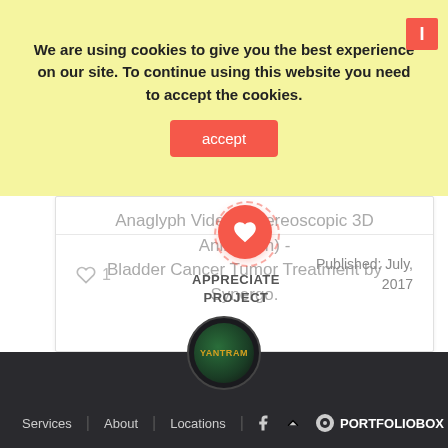We are using cookies to give you the best experience on our site. To continue using this website you need to accept the cookies.
accept
Anaglyph Video - Stereoscopic 3D Animation) - Bladder Cancer Tumor Treatment by Synergo.
1
APPRECIATE PROJECT
Published: July, 2017
Services | About | Locations
PORTFOLIOBOX